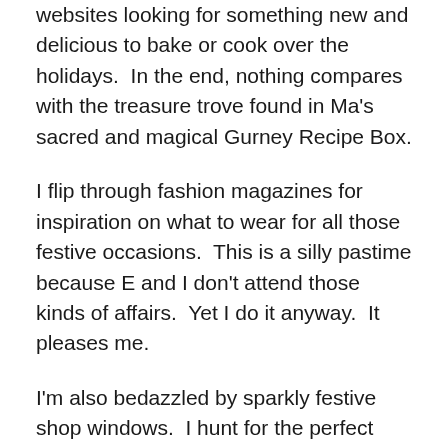websites looking for something new and delicious to bake or cook over the holidays.  In the end, nothing compares with the treasure trove found in Ma's sacred and magical Gurney Recipe Box.
I flip through fashion magazines for inspiration on what to wear for all those festive occasions.  This is a silly pastime because E and I don't attend those kinds of affairs.  Yet I do it anyway.  It pleases me.
I'm also bedazzled by sparkly festive shop windows.  I hunt for the perfect holiday outfit.  I daydream about a beautiful more glamorous version of myself that will somehow magically appear like Cinderella at the ball. I wonder what it would be like to knock 'em dead at our office party.  I fantasize about a transformation from drab nondescript woman in the corner cube to glamor